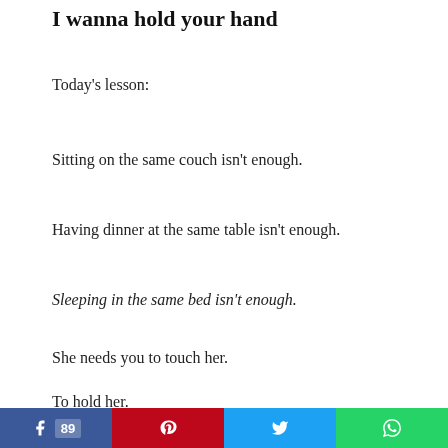I wanna hold your hand
Today's lesson:
Sitting on the same couch isn't enough.
Having dinner at the same table isn't enough.
Sleeping in the same bed isn't enough.
She needs you to touch her.
To hold her.
You.
[Figure (other): Social share bar with Facebook (89 shares), Pinterest, Twitter, and WhatsApp buttons]